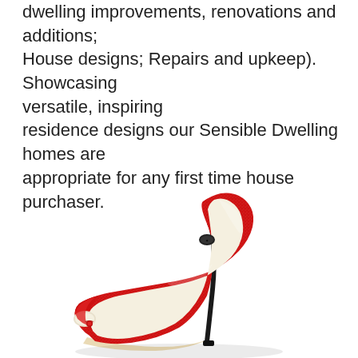dwelling improvements, renovations and additions; House designs; Repairs and upkeep). Showcasing versatile, inspiring residence designs our Sensible Dwelling homes are appropriate for any first time house purchaser.
[Figure (photo): A red glitter stiletto high-heel shoe (peep-toe style) with a black heel, cream/beige interior, photographed on a white background.]